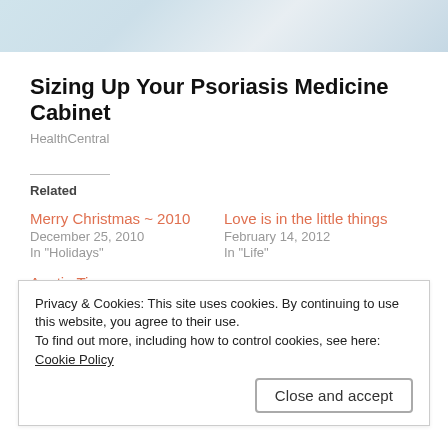[Figure (photo): Partial view of a medical/pharmacy related image, light blue/grey tones]
Sizing Up Your Psoriasis Medicine Cabinet
HealthCentral
Related
Merry Christmas ~ 2010
December 25, 2010
In "Holidays"
Love is in the little things
February 14, 2012
In "Life"
Auntie Time
December 28, 2010
In "Holidays"
Privacy & Cookies: This site uses cookies. By continuing to use this website, you agree to their use.
To find out more, including how to control cookies, see here: Cookie Policy
Close and accept